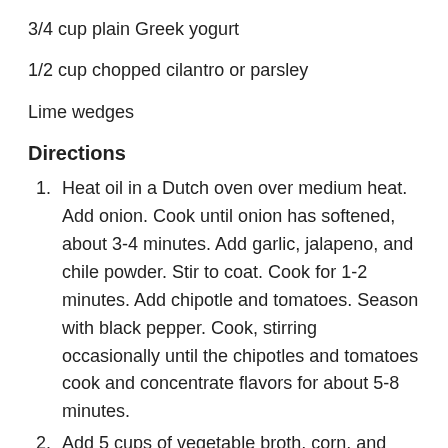3/4 cup plain Greek yogurt
1/2 cup chopped cilantro or parsley
Lime wedges
Directions
Heat oil in a Dutch oven over medium heat. Add onion. Cook until onion has softened, about 3-4 minutes. Add garlic, jalapeno, and chile powder. Stir to coat. Cook for 1-2 minutes. Add chipotle and tomatoes. Season with black pepper. Cook, stirring occasionally until the chipotles and tomatoes cook and concentrate flavors for about 5-8 minutes.
Add 5 cups of vegetable broth, corn, and black beans. Bring to a simmer and reduce heat to low. Simmer for about 20 minutes. If soup is too thick